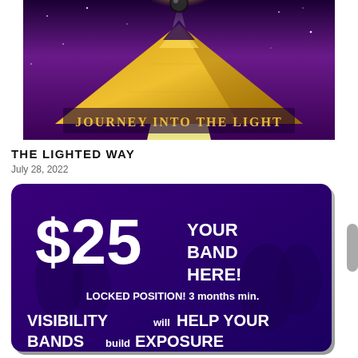[Figure (illustration): Album or event artwork showing a golden pyramid with light beam shooting upward against a purple/cosmic background. Text reads 'JOURNEY INTO THE LIGHT' in stylized golden lettering at the bottom of the image.]
THE LIGHTED WAY
July 28, 2022
[Figure (illustration): Purple promotional advertisement with white bold text. Large '$25' on left, 'YOUR BAND HERE!' on right, 'LOCKED POSITION! 3 months min.' below, and 'VISIBILITY will HELP YOUR BANDS build EXPOSURE' at the bottom. Background shows concert/band imagery.]